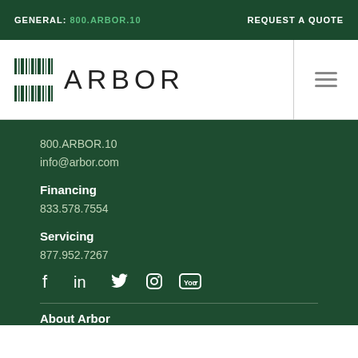GENERAL: 800.ARBOR.10    REQUEST A QUOTE
[Figure (logo): Arbor company logo with barcode-style icon and ARBOR text]
800.ARBOR.10
info@arbor.com
Financing
833.578.7554
Servicing
877.952.7267
[Figure (other): Social media icons: Facebook, LinkedIn, Twitter, Instagram, YouTube]
About Arbor